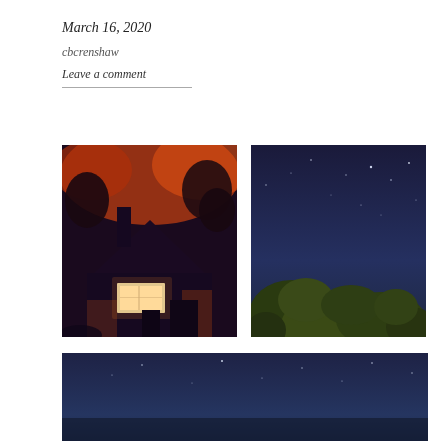March 16, 2020
cbcrenshaw
Leave a comment
[Figure (photo): Nighttime photo of a dark house with warm glowing window, chimney silhouette, and orange-lit trees in background]
[Figure (photo): Night sky photo showing dark blue sky with stars and tree silhouettes with yellow-green foliage at the bottom]
[Figure (photo): Wide nighttime sky photo with dark blue tones, stars visible, partial scene]